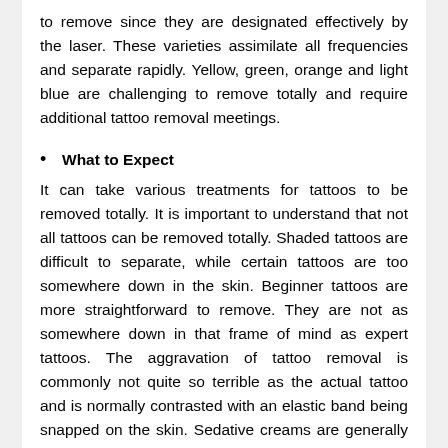to remove since they are designated effectively by the laser. These varieties assimilate all frequencies and separate rapidly. Yellow, green, orange and light blue are challenging to remove totally and require additional tattoo removal meetings.
What to Expect
It can take various treatments for tattoos to be removed totally. It is important to understand that not all tattoos can be removed totally. Shaded tattoos are difficult to separate, while certain tattoos are too somewhere down in the skin. Beginner tattoos are more straightforward to remove. They are not as somewhere down in that frame of mind as expert tattoos. The aggravation of tattoo removal is commonly not quite so terrible as the actual tattoo and is normally contrasted with an elastic band being snapped on the skin. Sedative creams are generally applied to numb the region